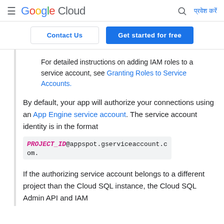Google Cloud  [search icon]  प्रवेश करें
Contact Us  |  Get started for free
For detailed instructions on adding IAM roles to a service account, see Granting Roles to Service Accounts.
By default, your app will authorize your connections using an App Engine service account. The service account identity is in the format PROJECT_ID@appspot.gserviceaccount.com.
If the authorizing service account belongs to a different project than the Cloud SQL instance, the Cloud SQL Admin API and IAM